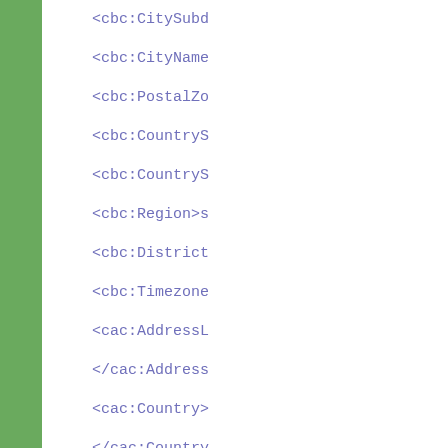<cbc:CitySubd
<cbc:CityName
<cbc:PostalZo
<cbc:CountryS
<cbc:CountryS
<cbc:Region>s
<cbc:District
<cbc:Timezone
<cac:AddressL
</cac:Address
<cac:Country>
</cac:Country
<cac:Location